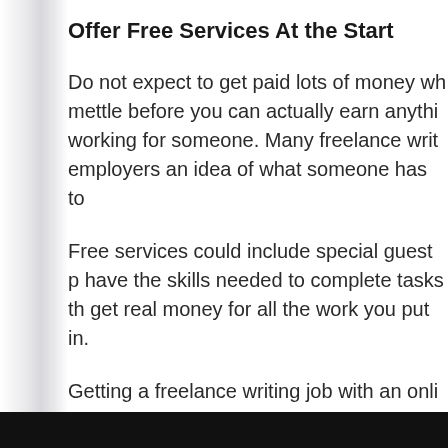Offer Free Services At the Start
Do not expect to get paid lots of money wh... mettle before you can actually earn anythi... working for someone. Many freelance writ... employers an idea of what someone has to...
Free services could include special guest p... have the skills needed to complete tasks th... get real money for all the work you put in.
Getting a freelance writing job with an onli... getting the right job that you are bound to... enter into when you work well enough and...